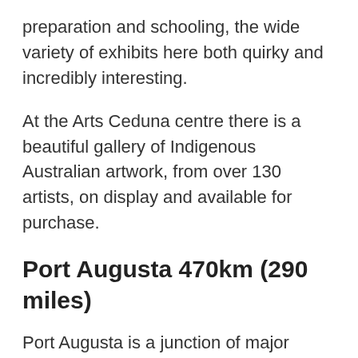preparation and schooling, the wide variety of exhibits here both quirky and incredibly interesting.
At the Arts Ceduna centre there is a beautiful gallery of Indigenous Australian artwork, from over 130 artists, on display and available for purchase.
Port Augusta 470km (290 miles)
Port Augusta is a junction of major roads and railways, and a gateway to the Ikara-Flinders Ranges National Park. If you have the time, it's worth the hour and a